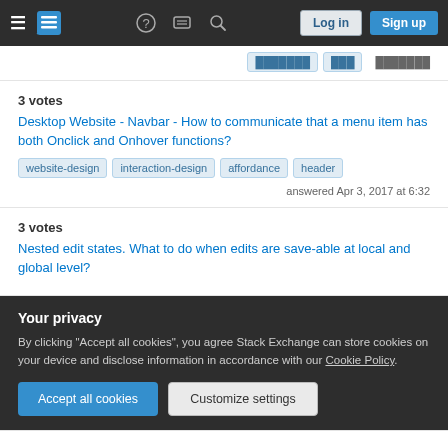Stack Exchange navigation bar with Log in and Sign up buttons
3 votes
Desktop Website - Navbar - How to communicate that a menu item has both Onclick and Onhover functions?
website-design  interaction-design  affordance  header
answered Apr 3, 2017 at 6:32
3 votes
Nested edit states. What to do when edits are save-able at local and global level?
Your privacy
By clicking "Accept all cookies", you agree Stack Exchange can store cookies on your device and disclose information in accordance with our Cookie Policy.
Accept all cookies  Customize settings